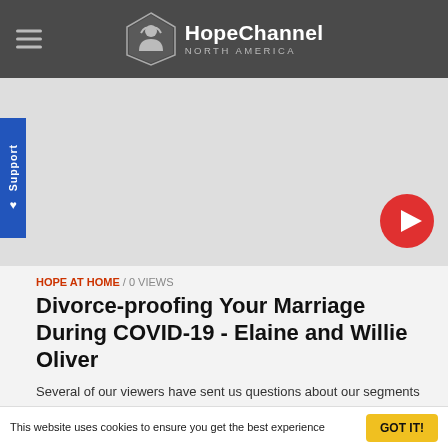HopeChannel NORTH AMERICA
[Figure (screenshot): Video thumbnail area — light gray placeholder with a red circular play button in the bottom right corner]
HOPE AT HOME / 0 VIEWS
Divorce-proofing Your Marriage During COVID-19 - Elaine and Willie Oliver
Several of our viewers have sent us questions about our segments on maintaining a healthy marriage during COVID-19. Today we will answer your questions with specific strategies and tips on staying happily married and even strengthening your marriage during COVID-19.
This website uses cookies to ensure you get the best experience
GOT IT!